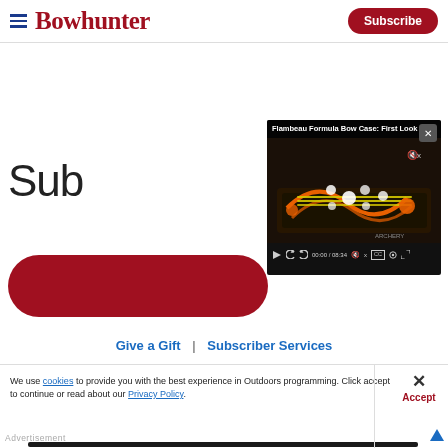Bowhunter | Subscribe
[Figure (screenshot): Video player showing Flambeau Formula Bow Case: First Look, time 00:00 / 08:34, with video controls]
Sub
Give a Gift | Subscriber Services
We use cookies to provide you with the best experience in Outdoors programming. Click accept to continue or read about our Privacy Policy.
× Accept
[Figure (infographic): Speer advertisement: Bonded to reach critical depths, BUY NOW]